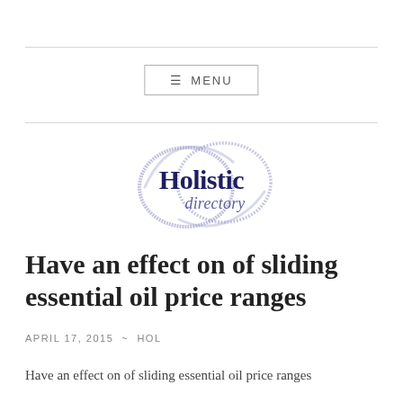≡ MENU
[Figure (logo): Holistic Directory logo — two overlapping infinity-style circles in muted purple/blue brush strokes, with 'Holistic' in dark navy serif bold and 'directory' in lighter purple serif italic below]
Have an effect on of sliding essential oil price ranges
APRIL 17, 2015 ~ HOL
Have an effect on of sliding essential oil price ranges